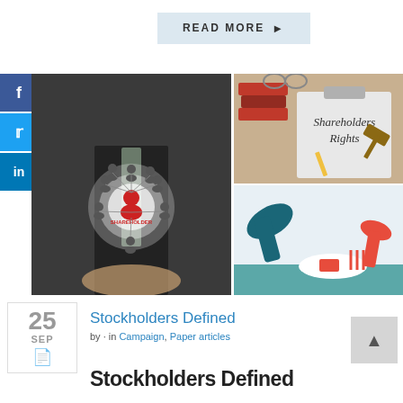READ MORE ▶
[Figure (photo): Collage of three images: left - businessman holding a digital network of people icons with a central 'Shareholder' figure glowing; top right - clipboard with 'Shareholders Rights' written on it, surrounded by books, glasses and gavel; bottom right - illustration of a large hand (teal/dark) and a small hand (red) with a fork, and a small red shape on a white plate.]
Stockholders Defined
by · in Campaign, Paper articles
Stockholders Defined